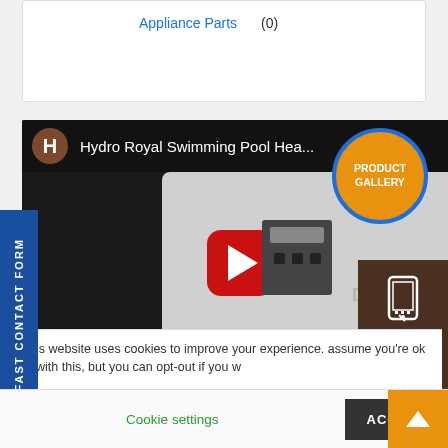Appliance Parts (0)
[Figure (screenshot): YouTube video thumbnail showing Hydro Royal Swimming Pool Heater video with play button overlay]
[Figure (other): Product Gallery circular badge with blue border and orange background]
[Figure (other): Fast Contact Form vertical blue tab on left side]
[Figure (other): From Your Phone dark brown badge with phone icon on right side]
is website uses cookies to improve your experience. assume you're ok with this, but you can opt-out if you w
Cookie settings
ACCEPT